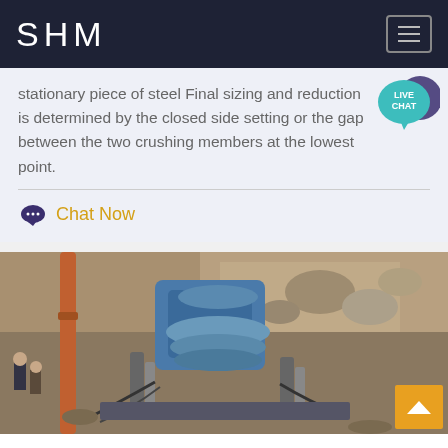SHM
stationary piece of steel Final sizing and reduction is determined by the closed side setting or the gap between the two crushing members at the lowest point.
Chat Now
[Figure (photo): Industrial cone crusher machine photographed outdoors at a mining or quarry site, showing mechanical components, pipes, and aggregate/rock material in the background. Workers visible on the left side.]